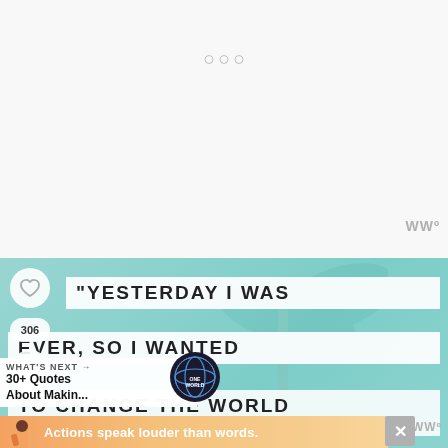[Figure (screenshot): Top white area of a webpage/app with three navigation dots near top center]
WWº
[Figure (screenshot): Teal/turquoise quote card background with tropical imagery. Contains a heart icon button, share button, and 306 count. Quote text in white boxes reads: "YESTERDAY I WAS CLEVER, SO I WANTED TO CHANGE THE WORLD]
"YESTERDAY I WAS
EVER, SO I WANTED
TO CHANGE THE WORLD
306
WHAT'S NEXT →
30+ Quotes About Makin...
[Figure (logo): Globe icon with ONE WORLD text]
[Figure (infographic): Ad banner with illustrated figure and text 'Actions speak louder than words.']
Actions speak louder than words.
WWº